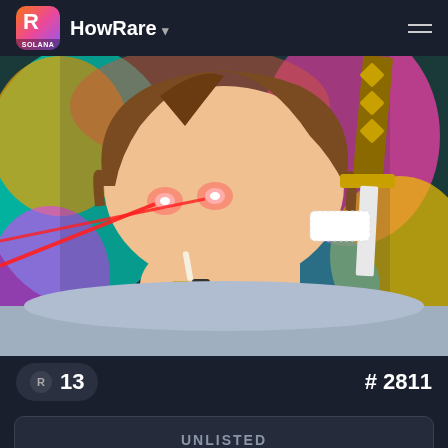HowRare
[Figure (illustration): Anime-style illustration of a person with laser eyes holding a lighter and cigarette, with a colorful psychedelic background and a sword visible. Text 'SMOKE' visible on sleeve.]
R 13
# 2811
UNLISTED